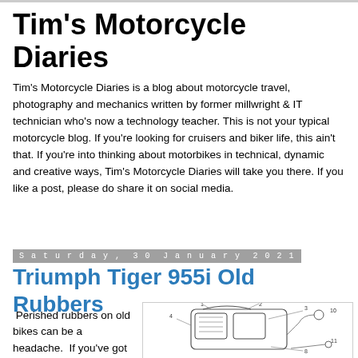Tim's Motorcycle Diaries
Tim's Motorcycle Diaries is a blog about motorcycle travel, photography and mechanics written by former millwright & IT technician who's now a technology teacher. This is not your typical motorcycle blog. If you're looking for cruisers and biker life, this ain't that. If you're into thinking about motorbikes in technical, dynamic and creative ways, Tim's Motorcycle Diaries will take you there. If you like a post, please do share it on social media.
Saturday, 30 January 2021
Triumph Tiger 955i Old Rubbers
Perished rubbers on old bikes can be a headache.  If you've got an old 955i Tim...
[Figure (engineering-diagram): Technical exploded diagram of a motorcycle headlight/fairing assembly with numbered parts]